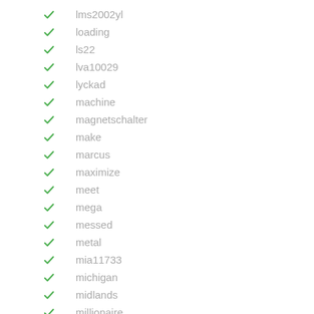lms2002yl
loading
ls22
lva10029
lyckad
machine
magnetschalter
make
marcus
maximize
meet
mega
messed
metal
mia11733
michigan
midlands
millionaire